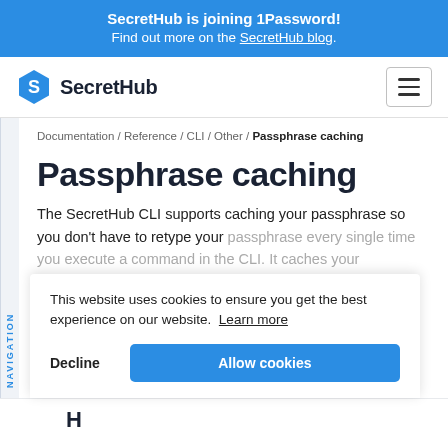SecretHub is joining 1Password! Find out more on the SecretHub blog.
[Figure (logo): SecretHub logo with hexagon icon and bold text]
Documentation / Reference / CLI / Other / Passphrase caching
Passphrase caching
The SecretHub CLI supports caching your passphrase so you don't have to retype your passphrase every single time you execute a command in the CLI. It caches your passphrase by default for 5 minutes, but you can configure it to your liking or disable it altogether.
This website uses cookies to ensure you get the best experience on our website. Learn more
Decline | Allow cookies